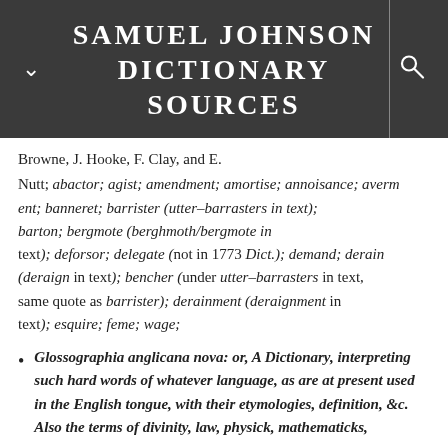SAMUEL JOHNSON DICTIONARY SOURCES
Browne, J. Hooke, F. Clay, and E.
Nutt; abactor; agist; amendment; amortise; annoisance; averment; banneret; barrister (utter-barrasters in text); barton; bergmote (berghmoth/bergmote in text); deforsor; delegate (not in 1773 Dict.); demand; derain (deraign in text); bencher (under utter-barrasters in text, same quote as barrister); derainment (deraignment in text); esquire; feme; wage;
Glossographia anglicana nova: or, A Dictionary, interpreting such hard words of whatever language, as are at present used in the English tongue, with their etymologies, definition, &c. Also the terms of divinity, law, physick, mathematicks,